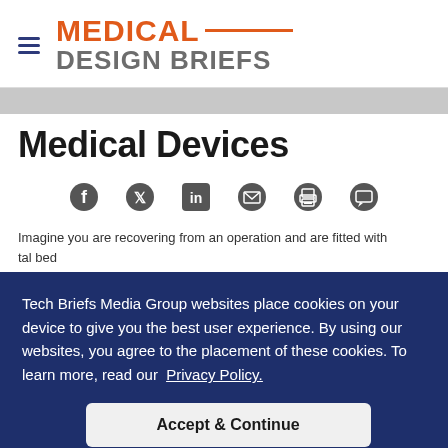Medical Design Briefs
Medical Devices
[Figure (other): Social sharing icons row: Facebook, Twitter, LinkedIn, Email, Print, Comment]
Imagine you are recovering from an operation and are fitted with ... tal bed ... very ... ne ... ders
Tech Briefs Media Group websites place cookies on your device to give you the best user experience. By using our websites, you agree to the placement of these cookies. To learn more, read our Privacy Policy.
Accept & Continue